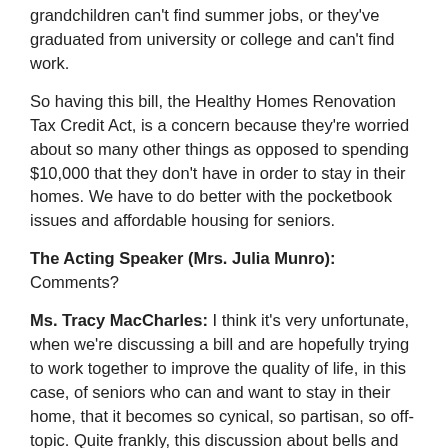grandchildren can't find summer jobs, or they've graduated from university or college and can't find work.
So having this bill, the Healthy Homes Renovation Tax Credit Act, is a concern because they're worried about so many other things as opposed to spending $10,000 that they don't have in order to stay in their homes. We have to do better with the pocketbook issues and affordable housing for seniors.
The Acting Speaker (Mrs. Julia Munro): Comments?
Ms. Tracy MacCharles: I think it's very unfortunate, when we're discussing a bill and are hopefully trying to work together to improve the quality of life, in this case, of seniors who can and want to stay in their home, that it becomes so cynical, so partisan, so off-topic. Quite frankly, this discussion about bells and all that just shows that this bill, along with others, has taken so long to get to this point because of the delays.